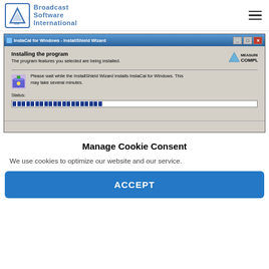Broadcast Software International
[Figure (screenshot): InstaCal for Windows - InstallShield Wizard dialog showing 'Installing the program' with a progress bar approximately 60% complete. Measurement Computing logo visible. Message: 'Please wait while the InstallShield Wizard installs InstaCal for Windows. This may take several minutes.' Status label shown above the progress bar.]
Manage Cookie Consent
We use cookies to optimize our website and our service.
ACCEPT